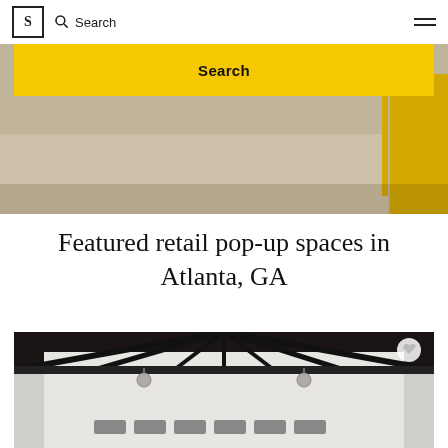S | Search
[Figure (photo): Yellow search bar overlay on a store interior photo showing yellow furniture and wooden shelving]
Featured retail pop-up spaces in Atlanta, GA
[Figure (photo): Interior of a retail space with dark ceiling beams, industrial lighting, and white walls]